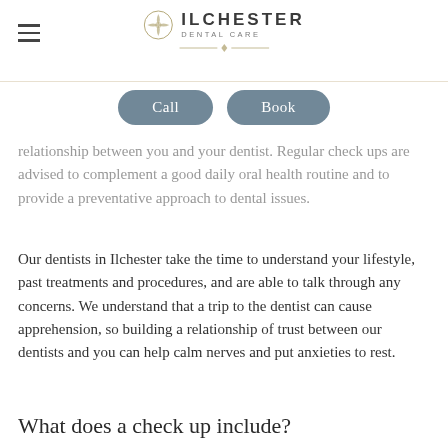ILCHESTER DENTAL CARE
relationship between you and your dentist. Regular check ups are advised to complement a good daily oral health routine and to provide a preventative approach to dental issues.
Our dentists in Ilchester take the time to understand your lifestyle, past treatments and procedures, and are able to talk through any concerns. We understand that a trip to the dentist can cause apprehension, so building a relationship of trust between our dentists and you can help calm nerves and put anxieties to rest.
What does a check up include?